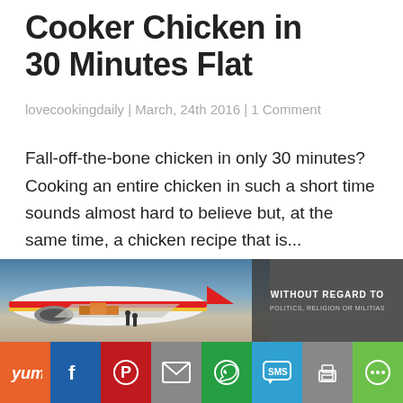Cooker Chicken in 30 Minutes Flat
lovecookingdaily | March, 24th 2016 | 1 Comment
Fall-off-the-bone chicken in only 30 minutes? Cooking an entire chicken in such a short time sounds almost hard to believe but, at the same time, a chicken recipe that is...
[Figure (photo): Advertisement showing an airplane being loaded with cargo; overlay text reads 'WITHOUT REGARD TO POLITICS, RELIGION OR MILITIAS']
[Figure (infographic): Social sharing bar with buttons for Yummly, Facebook, Pinterest, Email, WhatsApp, SMS, Print, and More]